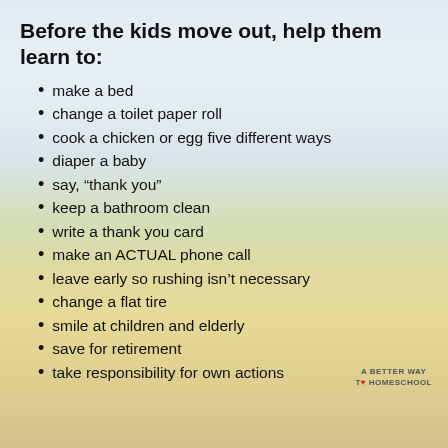[Figure (photo): Background photo of a person in a red dress and wide-brimmed straw hat standing in a sunflower field with arms outstretched, with a sky and clouds visible in the upper portion.]
Before the kids move out, help them learn to:
make a bed
change a toilet paper roll
cook a chicken or egg five different ways
diaper a baby
say, "thank you"
keep a bathroom clean
write a thank you card
make an ACTUAL phone call
leave early so rushing isn't necessary
change a flat tire
smile at children and elderly
save for retirement
take responsibility for own actions